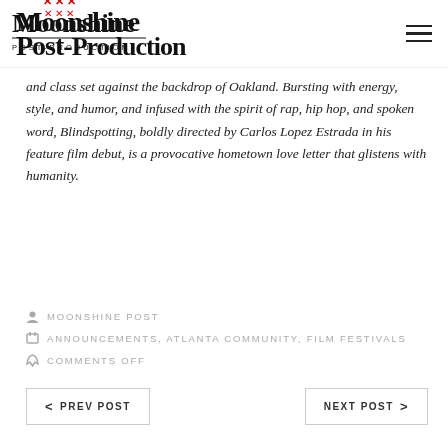Moonshine Post-Production
and class set against the backdrop of Oakland. Bursting with energy, style, and humor, and infused with the spirit of rap, hip hop, and spoken word, Blindspotting, boldly directed by Carlos Lopez Estrada in his feature film debut, is a provocative hometown love letter that glistens with humanity.
MOONSHINE POST
ANNOUNCEMENTS, ATLANTA COMMUNITY, FILM FESTIVALS
COMMENTS OFF
< PREV POST
NEXT POST >